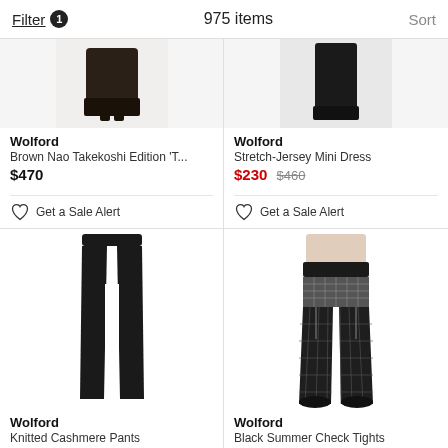Filter 1   975 items   Sort
[Figure (photo): Partial view of Wolford Brown Nao Takekoshi Edition product, showing bottom half of dark clothing item on white/grey background]
Wolford
Brown Nao Takekoshi Edition 'T...
$470
Get a Sale Alert
[Figure (photo): Partial view of Wolford Stretch-Jersey Mini Dress, showing dark garment on grey background]
Wolford
Stretch-Jersey Mini Dress
$230 $460
Get a Sale Alert
[Figure (photo): Wolford Knitted Cashmere Pants - black wide-leg trousers displayed on white background]
Wolford
Knitted Cashmere Pants
$665
[Figure (photo): Wolford Black Summer Check Tights worn on model's legs showing sheer check pattern tights]
Wolford
Black Summer Check Tights
$53 $75